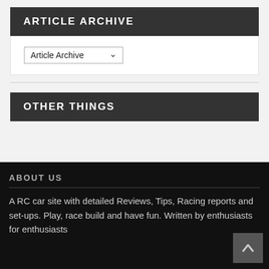ARTICLE ARCHIVE
Article Archive
OTHER THINGS
ABOUT US
A RC car site with detailed Reviews, Tips, Racing reports and set-ups. Play, race build and have fun. Written by enthusiasts for enthusiasts